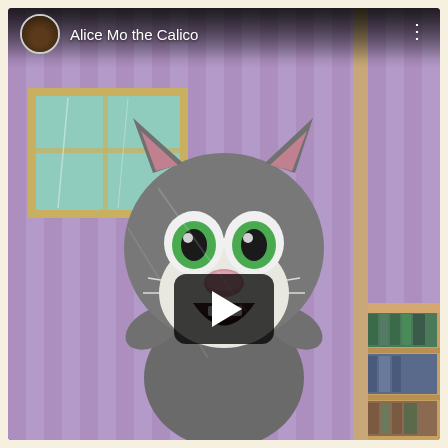[Figure (screenshot): A YouTube/social media video thumbnail screenshot showing an animated talking cat character (Talking Tom) with wide green eyes and open mouth, standing in front of a purple striped wall with a window and bookshelf. A play button overlay is visible at the bottom center. The top bar shows a user avatar, channel name 'Alice Mo the Calico', and a three-dot menu.]
Alice Mo the Calico